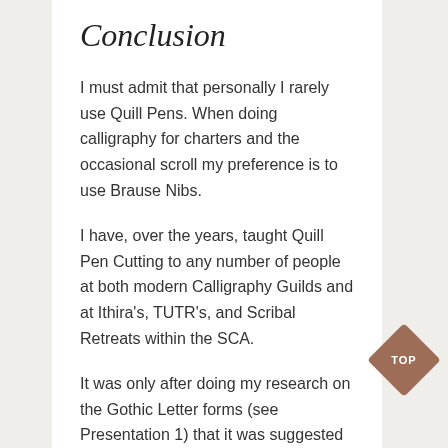Conclusion
I must admit that personally I rarely use Quill Pens. When doing calligraphy for charters and the occasional scroll my preference is to use Brause Nibs.
I have, over the years, taught Quill Pen Cutting to any number of people at both modern Calligraphy Guilds and at Ithira's, TUTR's, and Scribal Retreats within the SCA.
It was only after doing my research on the Gothic Letter forms (see Presentation 1) that it was suggested that as an entry for competition, it
[Figure (other): Brown diamond-shaped TOP navigation button]